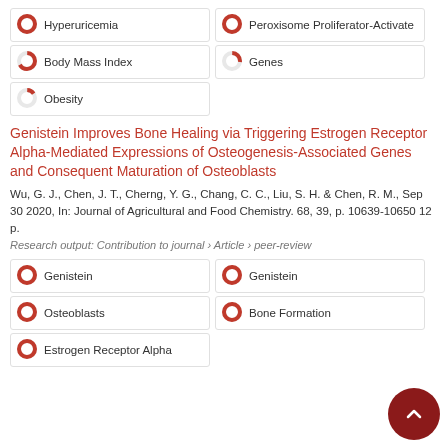[Figure (infographic): Keyword badges with donut chart percentage indicators: Hyperuricemia (100%), Peroxisome Proliferator-Activate... (100%), Body Mass Index (~67%), Genes (~27%), Obesity (~15%)]
Genistein Improves Bone Healing via Triggering Estrogen Receptor Alpha-Mediated Expressions of Osteogenesis-Associated Genes and Consequent Maturation of Osteoblasts
Wu, G. J., Chen, J. T., Cherng, Y. G., Chang, C. C., Liu, S. H. & Chen, R. M., Sep 30 2020, In: Journal of Agricultural and Food Chemistry. 68, 39, p. 10639-10650 12 p.
Research output: Contribution to journal › Article › peer-review
[Figure (infographic): Keyword badges with donut chart percentage indicators: Genistein (100%), Genistein (100%), Osteoblasts (100%), Bone Formation (100%), Estrogen Receptor Alpha (100%)]